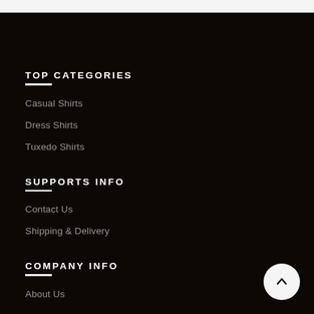TOP CATEGORIES
Casual Shirts
Dress Shirts
Tuxedo Shirts
SUPPORTS INFO
Contact Us
Shipping & Delivery
COMPANY INFO
About Us